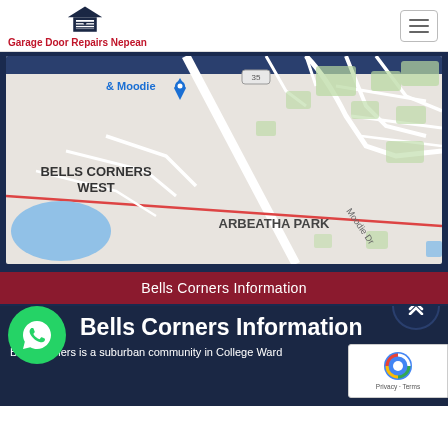Garage Door Repairs Nepean
[Figure (map): Google Maps view showing Bells Corners West and Arbeatha Park neighborhoods, with Moodie Dr running diagonally through the map.]
Bells Corners Information
Bells Corners Information
Bells Corners is a suburban community in College Ward